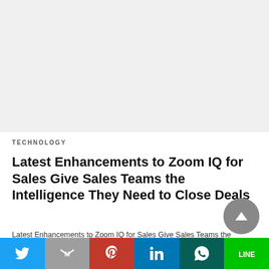[Figure (photo): Light gray placeholder image area at top of article]
TECHNOLOGY
Latest Enhancements to Zoom IQ for Sales Give Sales Teams the Intelligence They Need to Close Deals
Latest Enhancements to Zoom IQ for Sales Give Sales Teams the Intelligence They Need to…
[Figure (other): Social media share bar with Twitter, Email, Pinterest, LinkedIn, WhatsApp, LINE buttons]